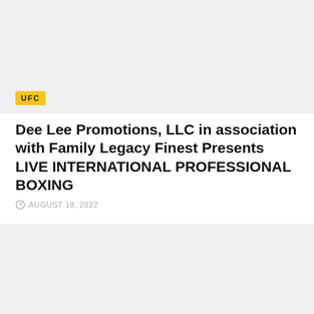[Figure (photo): Top image block with UFC badge label in yellow]
Dee Lee Promotions, LLC in association with Family Legacy Finest Presents LIVE INTERNATIONAL PROFESSIONAL BOXING
AUGUST 18, 2022
[Figure (photo): Bottom image block, light gray placeholder]